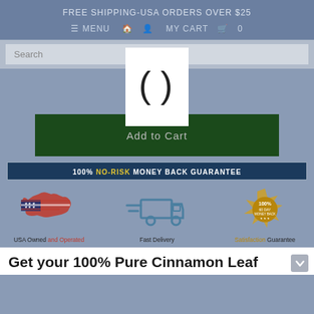FREE SHIPPING-USA ORDERS OVER $25
≡ MENU  🏠  👤  MY CART  🛒  0
Search
[Figure (other): Loading spinner icon showing parentheses () on white background]
Add to Cart
[Figure (infographic): Trust badges row: 100% NO-RISK MONEY BACK GUARANTEE banner, USA flag map with 'USA Owned and Operated', delivery truck with 'Fast Delivery', gold seal with '100% 60 DAY MONEY BACK' and 'Satisfaction Guarantee']
Get your 100% Pure Cinnamon Leaf Essential Oil Today...